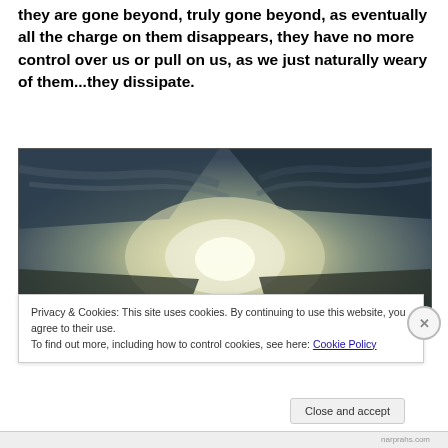they are gone beyond, truly gone beyond, as eventually all the charge on them disappears, they have no more control over us or pull on us, as we just naturally weary of them...they dissipate.
[Figure (photo): A silhouette of a person standing against a dramatic sky with bright light breaking through dark clouds, suggesting transcendence or spiritual journey.]
Privacy & Cookies: This site uses cookies. By continuing to use this website, you agree to their use.
To find out more, including how to control cookies, see here: Cookie Policy
Close and accept